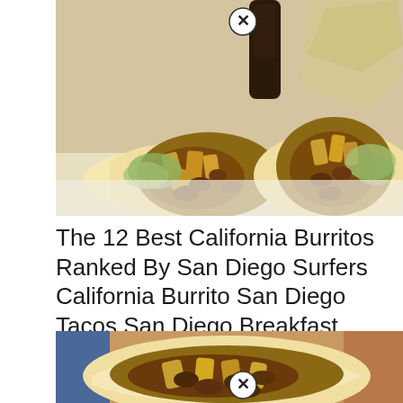[Figure (photo): Close-up photo of two California burritos cut in half, showing filling of carne asada, french fries, cheese, and lettuce inside flour tortillas. A dark glass bottle and packaged items visible in the background.]
The 12 Best California Burritos Ranked By San Diego Surfers California Burrito San Diego Tacos San Diego Breakfast
[Figure (photo): Close-up photo of a California burrito cut open showing carne asada and potato filling inside a flour tortilla, with colorful background.]